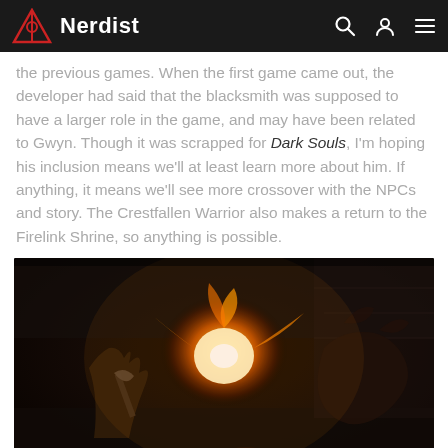Nerdist
the previous games. When the first game came out, the developer had said that the blacksmith was supposed to have a larger role in the game, and may have been related to Gwyn. Though it was scrapped for Dark Souls, I'm hoping his inclusion means we'll at least learn more about him. If anything, it means we'll see more crossover with the NPCs and story. The Crestfallen Warrior also makes a return to the Firelink Shrine, so anything is possible.
[Figure (screenshot): Dark Souls game screenshot showing a combat scene with a player character fighting a large creature, with a bright orange fire explosion in the center of the scene. The environment is dark and atmospheric.]